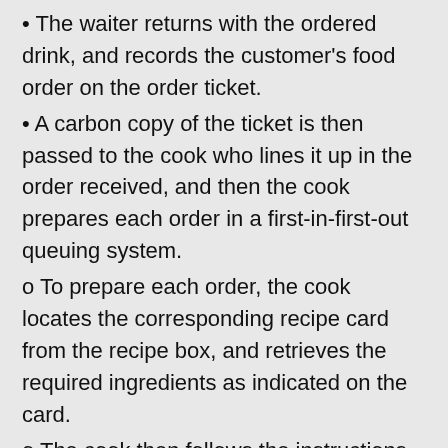• The waiter returns with the ordered drink, and records the customer's food order on the order ticket.
• A carbon copy of the ticket is then passed to the cook who lines it up in the order received, and then the cook prepares each order in a first-in-first-out queuing system.
o To prepare each order, the cook locates the corresponding recipe card from the recipe box, and retrieves the required ingredients as indicated on the card.
o The cook then follows the instructions on the recipe card to combine ingredients and prepare food stock.
o The cook then returns the recipe card to the recipe box, and proceeds to the next order.
• The wait staff then takes the original copy of the ticket